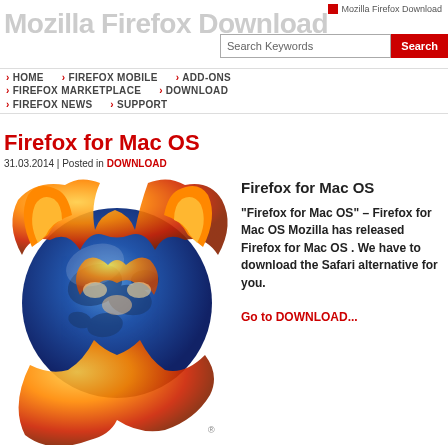Mozilla Firefox Download
Search Keywords
> HOME
> FIREFOX MOBILE
> ADD-ONS
> FIREFOX MARKETPLACE
> DOWNLOAD
> FIREFOX NEWS
> SUPPORT
Firefox for Mac OS
31.03.2014 | Posted in DOWNLOAD
[Figure (logo): Firefox browser logo - orange fox wrapped around blue globe]
Firefox for Mac OS
“Firefox for Mac OS” – Firefox for Mac OS Mozilla has released Firefox for Mac OS . We have to download the Safari alternative for you.
Go to DOWNLOAD...